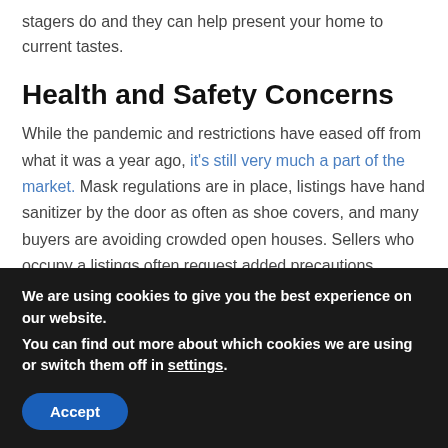stagers do and they can help present your home to current tastes.
Health and Safety Concerns
While the pandemic and restrictions have eased off from what it was a year ago, it's still very much a part of the market. Mask regulations are in place, listings have hand sanitizer by the door as often as shoe covers, and many buyers are avoiding crowded open houses. Sellers who occupy a listings often request added precautions, asking buyers and agents to avoid touching doors and sanitize or wipe down surfaces before leaving. Although these are
We are using cookies to give you the best experience on our website.
You can find out more about which cookies we are using or switch them off in settings.
Accept